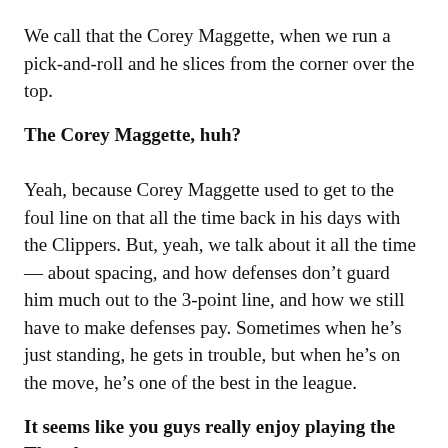We call that the Corey Maggette, when we run a pick-and-roll and he slices from the corner over the top.
The Corey Maggette, huh?
Yeah, because Corey Maggette used to get to the foul line on that all the time back in his days with the Clippers. But, yeah, we talk about it all the time — about spacing, and how defenses don't guard him much out to the 3-point line, and how we still have to make defenses pay. Sometimes when he's just standing, he gets in trouble, but when he's on the move, he's one of the best in the league.
It seems like you guys really enjoy playing the Thunder.
Well, last week they blew us out. But other than that, it has been fun games all the way around. Before they really, really